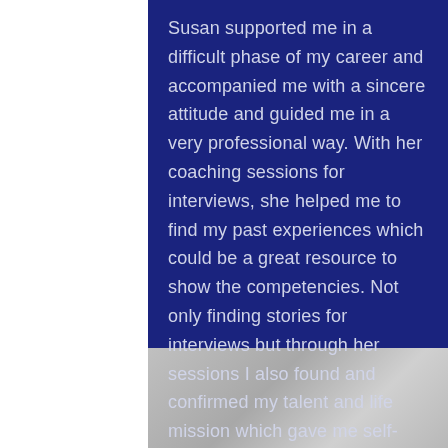Susan supported me in a difficult phase of my career and accompanied me with a sincere attitude and guided me in a very professional way. With her coaching sessions for interviews, she helped me to find my past experiences which could be a great resource to show the competencies. Not only finding stories for interviews but through her sessions I also found and confirmed my talent and life mission which gave me self-confidence to move forward.
Aki M. – Public Health Specialist, UN Agency